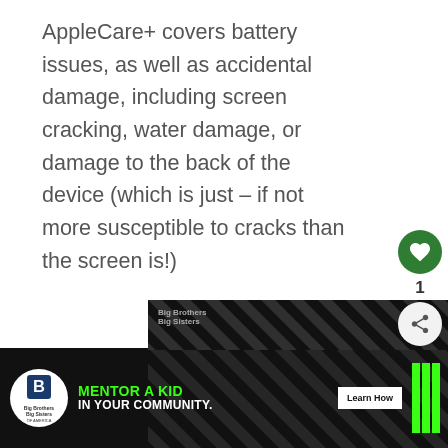AppleCare+ covers battery issues, as well as accidental damage, including screen cracking, water damage, or damage to the back of the device (which is just – if not more susceptible to cracks than the screen is!)
Additionally, it is possible to purchase protection against theft and loss as well, an additional fee.
[Figure (other): Big Brothers Big Sisters advertisement banner with green and white text on black background reading MENTOR A KID IN YOUR COMMUNITY with a Learn How button]